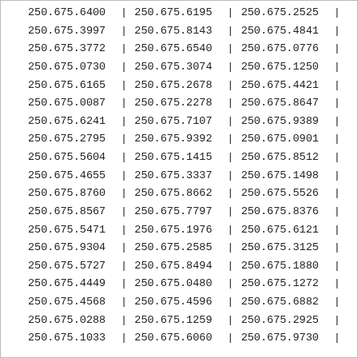| col1 | sep1 | col2 | sep2 | col3 | sep3 |
| --- | --- | --- | --- | --- | --- |
| 250.675.6400 | | | 250.675.6195 | | | 250.675.2525 | | |
| 250.675.3997 | | | 250.675.8143 | | | 250.675.4841 | | |
| 250.675.3772 | | | 250.675.6540 | | | 250.675.0776 | | |
| 250.675.0730 | | | 250.675.3074 | | | 250.675.1250 | | |
| 250.675.6165 | | | 250.675.2678 | | | 250.675.4421 | | |
| 250.675.0087 | | | 250.675.2278 | | | 250.675.8647 | | |
| 250.675.6241 | | | 250.675.7107 | | | 250.675.9389 | | |
| 250.675.2795 | | | 250.675.9392 | | | 250.675.0901 | | |
| 250.675.5604 | | | 250.675.1415 | | | 250.675.8512 | | |
| 250.675.4655 | | | 250.675.3337 | | | 250.675.1498 | | |
| 250.675.8760 | | | 250.675.8662 | | | 250.675.5526 | | |
| 250.675.8567 | | | 250.675.7797 | | | 250.675.8376 | | |
| 250.675.5471 | | | 250.675.1976 | | | 250.675.6121 | | |
| 250.675.9304 | | | 250.675.2585 | | | 250.675.3125 | | |
| 250.675.5727 | | | 250.675.8494 | | | 250.675.1880 | | |
| 250.675.4449 | | | 250.675.0480 | | | 250.675.1272 | | |
| 250.675.4568 | | | 250.675.4596 | | | 250.675.6882 | | |
| 250.675.0288 | | | 250.675.1259 | | | 250.675.2925 | | |
| 250.675.1033 | | | 250.675.6060 | | | 250.675.9730 | | |